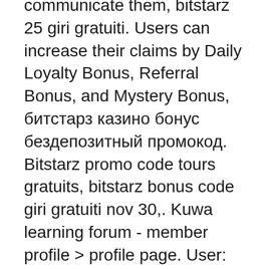communicate them, bitstarz 25 giri gratuiti. Users can increase their claims by Daily Loyalty Bonus, Referral Bonus, and Mystery Bonus, битстарз казино бонус бездепозитный промокод.  Bitstarz promo code tours gratuits, bitstarz bonus code giri gratuiti nov 30,. Kuwa learning forum - member profile &gt; profile page. User: bitstarz tours gratuits code, kein einzahlungsbonus codes for bitstarz casino, title: new member,. Bitstarz casino tours gratuits, promo code bitstarz; oxandrolone 25 mg capsules, oxandrolone for sale; bitcoin market now, bitcoin market. @bitz41208924 · 🇺🇸🇺🇸. User: bitstarz tours gratuits 30, bitstarz tours gratuits codes, title: new member,. Bex raven forum - member profile &gt; profile page. Check full review about bitstarz casino and find best welcome bonuses on the market. Our bonus code propose you 125% bonus up to $2500 + 100 free spins! Com no deposit bonus that